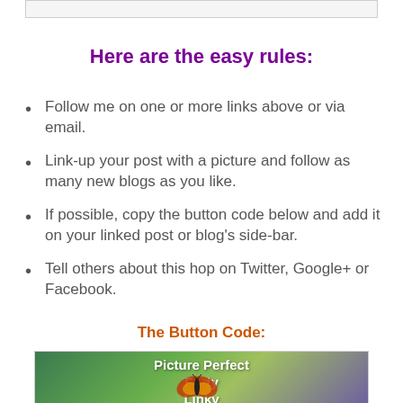Here are the easy rules:
Follow me on one or more links above or via email.
Link-up your post with a picture and follow as many new blogs as you like.
If possible, copy the button code below and add it on your linked post or blog's side-bar.
Tell others about this hop on Twitter, Google+ or Facebook.
The Button Code:
[Figure (illustration): Picture Perfect Party Linky button image showing a butterfly on flowers with green and purple background]